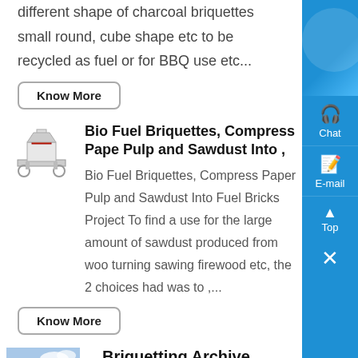different shape of charcoal briquettes small round, cube shape etc to be recycled as fuel or for BBQ use etc...
Know More
[Figure (illustration): Industrial briquette press machine illustration]
Bio Fuel Briquettes, Compress Paper Pulp and Sawdust Into ,
Bio Fuel Briquettes, Compress Paper Pulp and Sawdust Into Fuel Bricks Project To find a use for the large amount of sawdust produced from wood turning sawing firewood etc, the 2 choices had was to ,...
Know More
[Figure (photo): Photo of a large heap of charcoal or briquette material outdoors]
Briquetting Archive
Our briquette presses compact